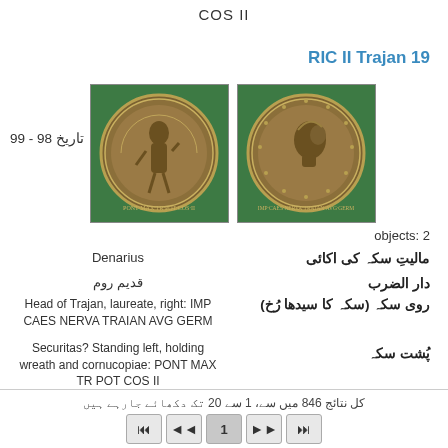COS II
RIC II Trajan 19
تاریخ 98 - 99
[Figure (photo): Two ancient Roman coin photographs on green background showing obverse and reverse of a Denarius of Trajan]
objects: 2
مالیتِ سکہ کی اکائی
Denarius
دار الضرب
قدیم روم
روی سکہ (سکہ کا سیدھا رُخ)
Head of Trajan, laureate, right: IMP CAES NERVA TRAIAN AVG GERM
پُشت سکہ
Securitas? Standing left, holding wreath and cornucopiae: PONT MAX TR POT COS II
کل نتائج 846 میں سے، 1 سے 20 تک دکھائے جارہے ہیں
1